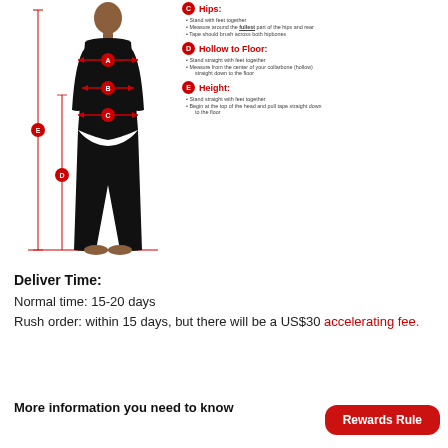[Figure (illustration): Woman in black outfit with red measurement arrows labeled A (bust), B (waist), C (hips), D (hollow to floor), E (height) shown on left side of page]
Hips: Stand with feet together • Measure around the fullest part of the hips and rear • Tape should brush across both hipbones
Hollow to Floor: Stand straight with feet together • Measure from the center of your collarbone (hollow) straight down to the floor
Height: Stand straight with feet together • Begin at the top of the head and pull tape straight down to the floor
Deliver Time:
Normal time: 15-20 days
Rush order: within 15 days, but there will be a US$30 accelerating fee.
More information you need to know